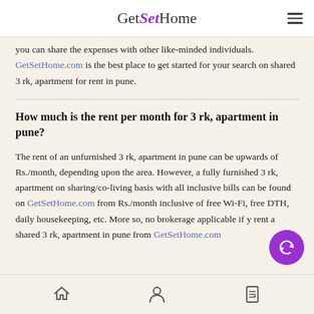GetSetHome
you can share the expenses with other like-minded individuals. GetSetHome.com is the best place to get started for your search on shared 3 rk, apartment for rent in pune.
How much is the rent per month for 3 rk, apartment in pune?
The rent of an unfurnished 3 rk, apartment in pune can be upwards of Rs./month, depending upon the area. However, a fully furnished 3 rk, apartment on sharing/co-living basis with all inclusive bills can be found on GetSetHome.com from Rs./month inclusive of free Wi-Fi, free DTH, daily housekeeping, etc. More so, no brokerage applicable if you rent a shared 3 rk, apartment in pune from GetSetHome.com
Home | Profile | Listings